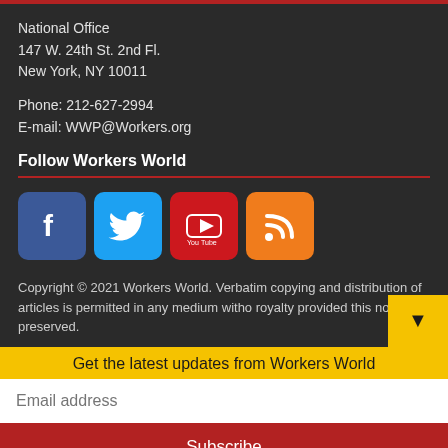National Office
147 W. 24th St. 2nd Fl.
New York, NY 10011
Phone: 212-627-2994
E-mail: WWP@Workers.org
Follow Workers World
[Figure (logo): Four social media icons: Facebook (blue), Twitter (cyan), YouTube (red), RSS (orange)]
Copyright © 2021 Workers World. Verbatim copying and distribution of articles is permitted in any medium witho royalty provided this notice is preserved.
Get the latest updates from Workers World
Email address
Subscribe